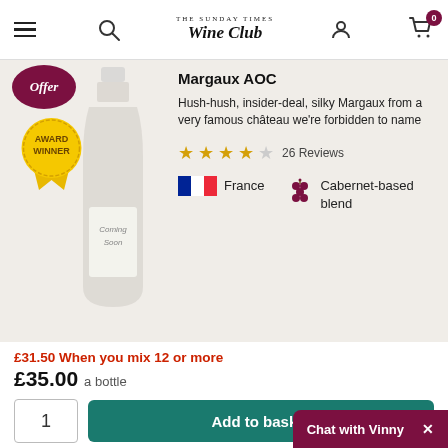THE SUNDAY TIMES Wine Club
Margaux AOC
Hush-hush, insider-deal, silky Margaux from a very famous château we're forbidden to name
4 stars, 26 Reviews
France | Cabernet-based blend
£31.50 When you mix 12 or more
£35.00 a bottle
Add to basket
Chat with Vinny